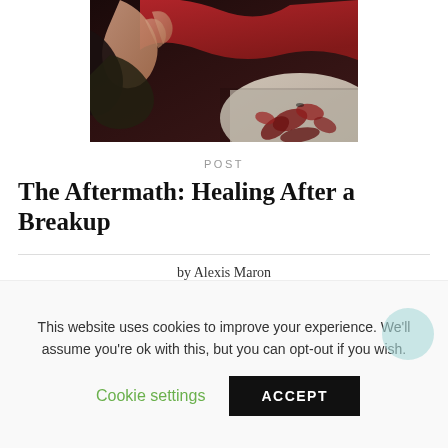[Figure (photo): Close-up photo of hands holding red rose petals or flowers, dark moody tones with red fabric and floral elements]
POST
The Aftermath: Healing After a Breakup
by Alexis Maron
JANUARY 3, 2018
This website uses cookies to improve your experience. We'll assume you're ok with this, but you can opt-out if you wish.
Cookie settings
ACCEPT